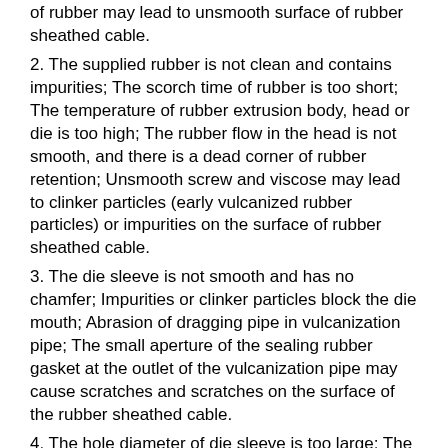of rubber may lead to unsmooth surface of rubber sheathed cable.
2. The supplied rubber is not clean and contains impurities; The scorch time of rubber is too short; The temperature of rubber extrusion body, head or die is too high; The rubber flow in the head is not smooth, and there is a dead corner of rubber retention; Unsmooth screw and viscose may lead to clinker particles (early vulcanized rubber particles) or impurities on the surface of rubber sheathed cable.
3. The die sleeve is not smooth and has no chamfer; Impurities or clinker particles block the die mouth; Abrasion of dragging pipe in vulcanization pipe; The small aperture of the sealing rubber gasket at the outlet of the vulcanization pipe may cause scratches and scratches on the surface of the rubber sheathed cable.
4. The hole diameter of die sleeve is too large; The gap between the outer strands and monofilaments of the conductive core is too large, and the outer diameter of the cable core is uneven; The rubber has small plasticity and